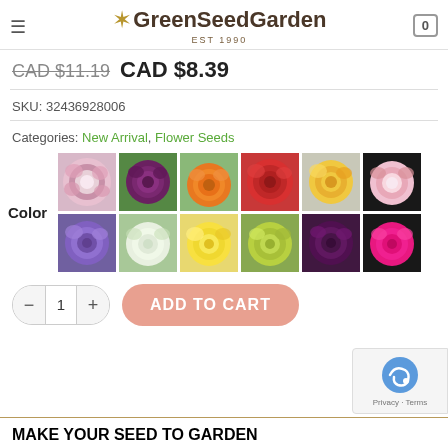GreenSeedGarden EST 1990
CAD $11.19  CAD $8.39
SKU: 32436928006
Categories: New Arrival, Flower Seeds
[Figure (photo): Grid of 12 flower photos showing various Ranunculus colors: pink-white, dark purple, orange, red, yellow-orange, light pink (top row); purple, white-green, yellow, lime-green, dark purple, hot pink (bottom row)]
Color
- 1 + ADD TO CART
MAKE YOUR SEED TO GARDEN